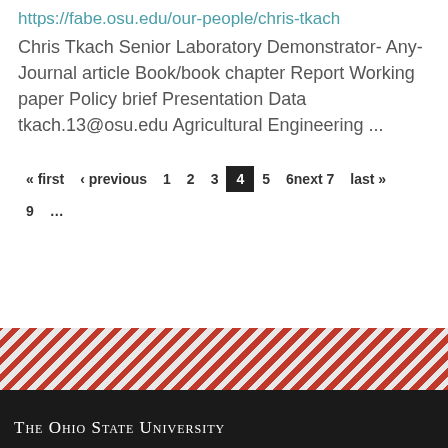https://fabe.osu.edu/our-people/chris-tkach
Chris Tkach Senior Laboratory Demonstrator- Any- Journal article Book/book chapter Report Working paper Policy brief Presentation Data tkach.13@osu.edu Agricultural Engineering ...
« first  ‹ previous  1  2  3  4  5  6next 7  last »  9  ...
[Figure (other): Red and grey diagonal striped band decorative element]
The Ohio State University